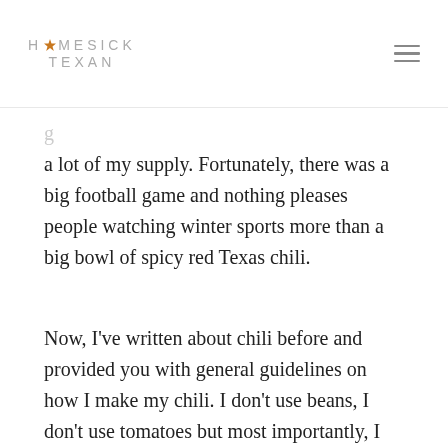HOMESICK TEXAN
a lot of my supply. Fortunately, there was a big football game and nothing pleases people watching winter sports more than a big bowl of spicy red Texas chili.
Now, I've written about chili before and provided you with general guidelines on how I make my chili. I don't use beans, I don't use tomatoes but most importantly, I don't use measurements. It works for me, but can be